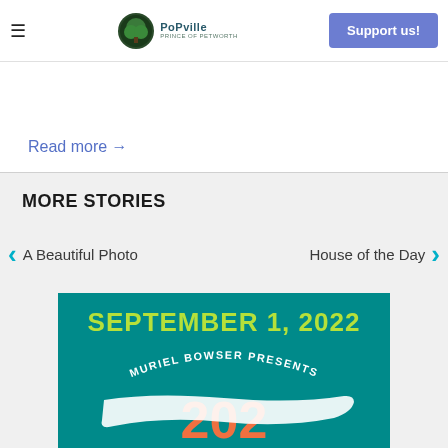≡  PoPville  Support us!
Read more →
MORE STORIES
< A Beautiful Photo    House of the Day >
[Figure (photo): Event flyer with teal background: 'SEPTEMBER 1, 2022' in green text, 'MURIEL BOWSER PRESENTS' in white text curved arc, large orange '202' partial number visible]